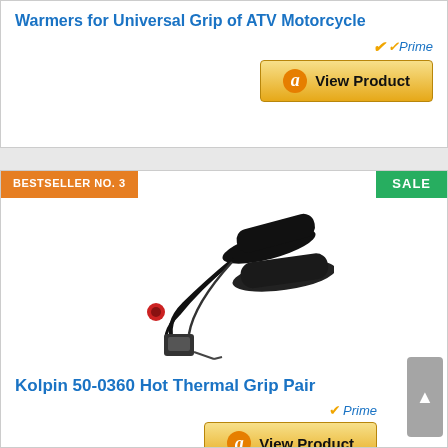Warmers for Universal Grip of ATV Motorcycle
[Figure (other): Amazon Prime badge with checkmark]
[Figure (other): Amazon View Product button with gold background and Amazon logo]
BESTSELLER NO. 3
SALE
[Figure (photo): Kolpin 50-0360 Hot Thermal Grip Pair product photo showing black motorcycle heated grips with wiring and controller]
Kolpin 50-0360 Hot Thermal Grip Pair
[Figure (other): Amazon Prime badge with checkmark]
[Figure (other): Amazon View Product button with gold background and Amazon logo]